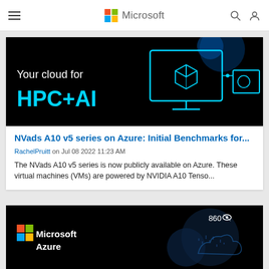Microsoft
[Figure (illustration): Dark banner with cyan line-art monitor/cube graphic and white text 'Your cloud for' and cyan bold text 'HPC+AI']
NVads A10 v5 series on Azure: Initial Benchmarks for...
RachelPruitt on Jul 08 2022 11:23 AM
The NVads A10 v5 series is now publicly available on Azure. These virtual machines (VMs) are powered by NVIDIA A10 Tenso...
[Figure (illustration): Dark Microsoft Azure banner with Microsoft logo squares and cloud graphic, showing '860' view count badge]